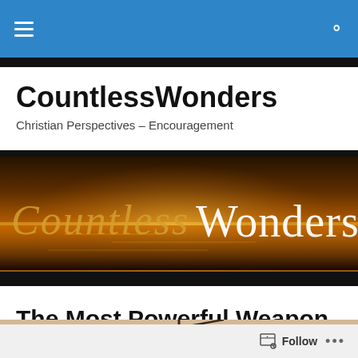CountlessWonders – Navigation bar with menu and search icons
CountlessWonders
Christian Perspectives – Encouragement
[Figure (illustration): Banner image with warm orange sunset over water, showing text 'Countless Wonders' in decorative white/gold serif font]
The Most Powerful Weapon
[Figure (photo): Partial view of a tan/beige background with a dark cross or branch shape visible at the top]
Follow ...